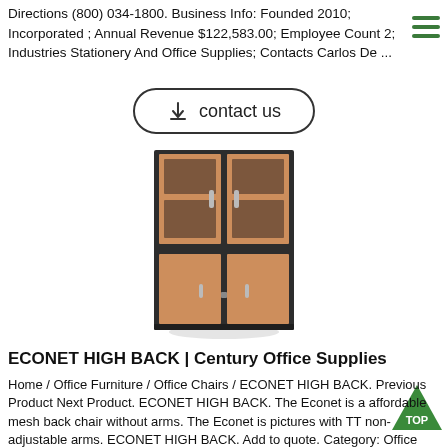Directions (800) 034-1800. Business Info: Founded 2010; Incorporated ; Annual Revenue $122,583.00; Employee Count 2; Industries Stationery And Office Supplies; Contacts Carlos De ...
[Figure (illustration): Contact us button with download icon, rounded rectangle border]
[Figure (photo): Tall wooden office cabinet with glass upper doors and solid lower doors, dark frame with cherry wood panels]
ECONET HIGH BACK | Century Office Supplies
Home / Office Furniture / Office Chairs / ECONET HIGH BACK. Previous Product Next Product. ECONET HIGH BACK. The Econet is a affordable mesh back chair without arms. The Econet is pictures with TT non-adjustable arms. ECONET HIGH BACK. Add to quote. Category: Office Chairs. No products in list.